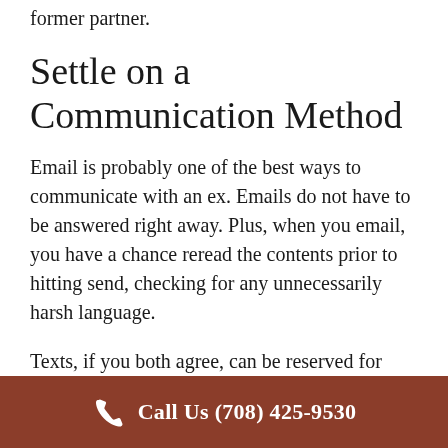former partner.
Settle on a Communication Method
Email is probably one of the best ways to communicate with an ex. Emails do not have to be answered right away. Plus, when you email, you have a chance reread the contents prior to hitting send, checking for any unnecessarily harsh language.
Texts, if you both agree, can be reserved for emergency communication that requires an immediate response. If you run into an
Call Us (708) 425-9530